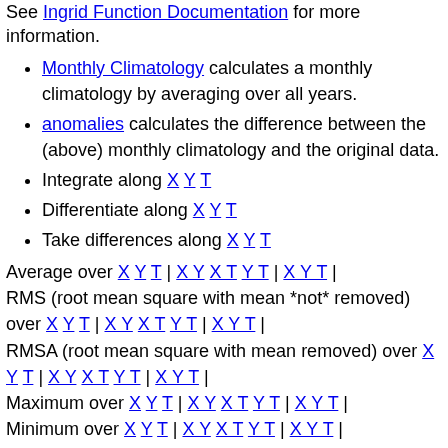See Ingrid Function Documentation for more information.
Monthly Climatology calculates a monthly climatology by averaging over all years.
anomalies calculates the difference between the (above) monthly climatology and the original data.
Integrate along X Y T
Differentiate along X Y T
Take differences along X Y T
Average over X Y T | X Y X T Y T | X Y T | RMS (root mean square with mean *not* removed) over X Y T | X Y X T Y T | X Y T | RMSA (root mean square with mean removed) over X Y T | X Y X T Y T | X Y T | Maximum over X Y T | X Y X T Y T | X Y T | Minimum over X Y T | X Y X T Y T | X Y T | Detrend (best-fit-line) over X Y T | X Y X T Y T | X Y T |